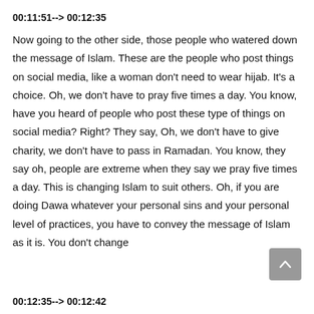00:11:51--> 00:12:35
Now going to the other side, those people who watered down the message of Islam. These are the people who post things on social media, like a woman don't need to wear hijab. It's a choice. Oh, we don't have to pray five times a day. You know, have you heard of people who post these type of things on social media? Right? They say, Oh, we don't have to give charity, we don't have to pass in Ramadan. You know, they say oh, people are extreme when they say we pray five times a day. This is changing Islam to suit others. Oh, if you are doing Dawa whatever your personal sins and your personal level of practices, you have to convey the message of Islam as it is. You don't change
00:12:35--> 00:12:42